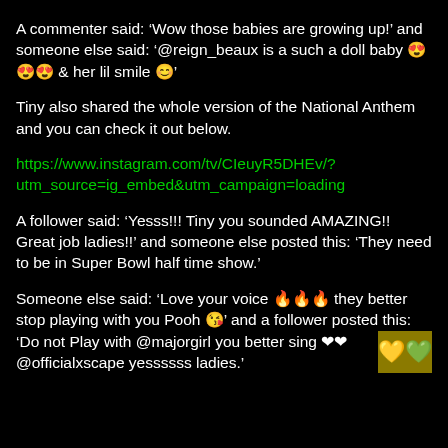A commenter said: ‘Wow those babies are growing up!’ and someone else said: ‘@reign_beaux is a such a doll baby 😍😍😍 & her lil smile 😊’
Tiny also shared the whole version of the National Anthem and you can check it out below.
https://www.instagram.com/tv/CIeuyR5DHEv/?utm_source=ig_embed&utm_campaign=loading
A follower said: ‘Yesss!!! Tiny you sounded AMAZING!! Great job ladies!!’ and someone else posted this: ‘They need to be in Super Bowl half time show.’
Someone else said: ‘Love your voice 🔥🔥🔥 they better stop playing with you Pooh 😘’ and a follower posted this: ‘Do not Play with @majorgirl you better sing ❤❤ @officialxscape yessssss ladies.’